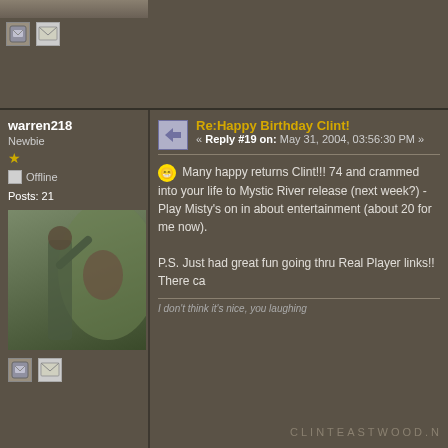[Figure (screenshot): Top strip with partial avatar image and user icon/envelope icons]
warren218
Newbie
★
Offline
Posts: 21
Re:Happy Birthday Clint!
« Reply #19 on: May 31, 2004, 03:56:30 PM »
Many happy returns Clint!!! 74 and crammed into your life to Mystic River release (next week?) - Play Misty's on in about entertainment (about 20 for me now).

P.S. Just had great fun going thru Real Player links!! There ca
I don't think it's nice, you laughing
Pages: [1] 2   GO UP
CLINTEASTWOOD.N